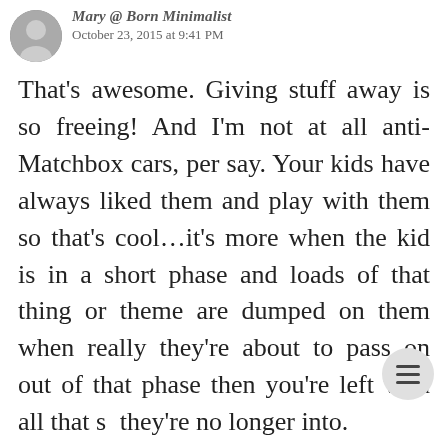[Figure (photo): Small circular avatar photo of a person]
October 23, 2015 at 9:41 PM
That's awesome. Giving stuff away is so freeing! And I'm not at all anti-Matchbox cars, per say. Your kids have always liked them and play with them so that's cool…it's more when the kid is in a short phase and loads of that thing or theme are dumped on them when really they're about to pass on out of that phase then you're left with all that s they're no longer into.